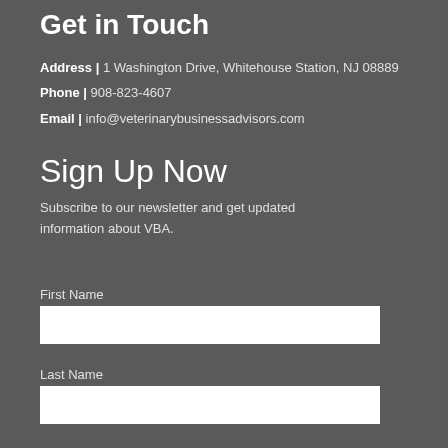Get in Touch
Address | 1 Washington Drive, Whitehouse Station, NJ 08889
Phone | 908-823-4607
Email | info@veterinarybusinessadvisors.com
Sign Up Now
Subscribe to our newsletter and get updated information about VBA.
First Name
Last Name